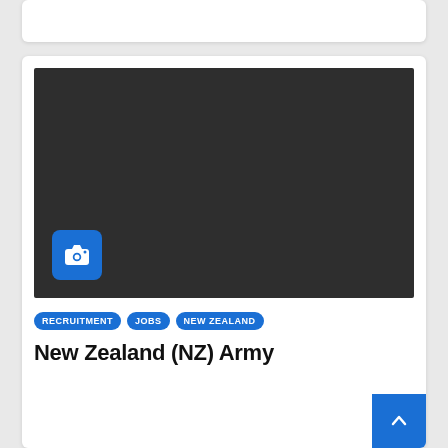[Figure (photo): Dark image placeholder with a camera icon button in the bottom-left corner, indicating an image gallery or photo content.]
RECRUITMENT
JOBS
NEW ZEALAND
New Zealand (NZ) Army